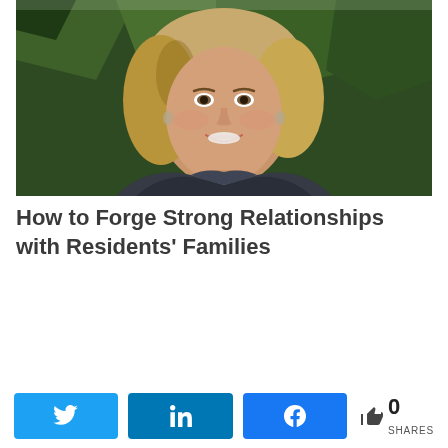[Figure (photo): Portrait photo of a smiling woman with wavy blonde hair wearing a dark jacket, standing outdoors in front of evergreen trees]
How to Forge Strong Relationships with Residents' Families